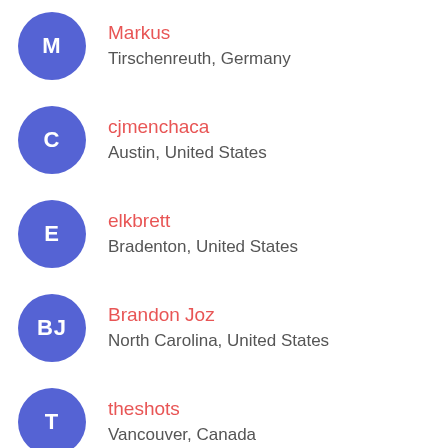Markus
Tirschenreuth, Germany
cjmenchaca
Austin, United States
elkbrett
Bradenton, United States
Brandon Joz
North Carolina, United States
theshots
Vancouver, Canada
ningli
Charlotte, NC, United States